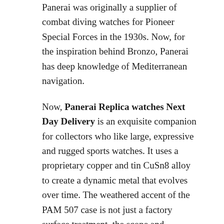Panerai was originally a supplier of combat diving watches for Pioneer Special Forces in the 1930s. Now, for the inspiration behind Bronzo, Panerai has deep knowledge of Mediterranean navigation.
Now, Panerai Replica watches Next Day Delivery is an exquisite companion for collectors who like large, expressive and rugged sports watches. It uses a proprietary copper and tin CuSn8 alloy to create a dynamic metal that evolves over time. The weathered accent of the PAM 507 case is not just a factory surface treatment, the scope and complexity of its design will increase over time.
Like the bronze fittings on luxury yachts and seaside residences, Panerai's bronze draws lasting power from the metal's ability to protect itself from decay through dynamic patina. Green, violet, copper, silver, and earth tones are slowly added to the